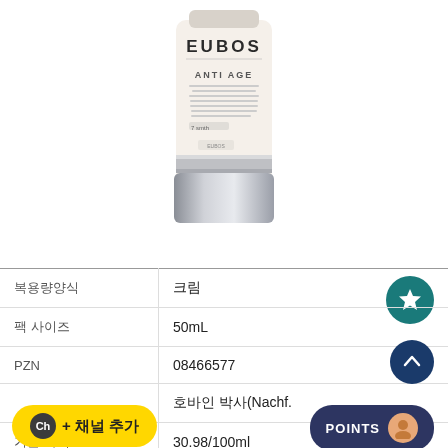[Figure (photo): EUBOS Anti Age cream product tube, cream/white color with silver cap, text on tube reads EUBOS ANTI AGE]
| 복용량양식 | 크림 |
| 팩 사이즈 | 50mL |
| PZN | 08466577 |
|  | 호바인 박사(Nachf. |
| 기본 가격 | 30.98/100ml |